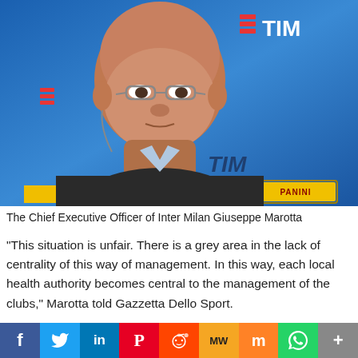[Figure (photo): Giuseppe Marotta, Chief Executive Officer of Inter Milan, photographed at a press conference with TIM and Panini sponsor backgrounds in blue]
The Chief Executive Officer of Inter Milan Giuseppe Marotta
"This situation is unfair. There is a grey area in the lack of centrality of this way of management. In this way, each local health authority becomes central to the management of the clubs," Marotta told Gazzetta Dello Sport.
"I go further, if faced with a positive case and this is the overall
[Figure (infographic): Social media sharing bar with buttons: Facebook (f), Twitter (bird), LinkedIn (in), Pinterest (P), Reddit (alien), MeWe (MW), Mix (m), WhatsApp, and More (+)]